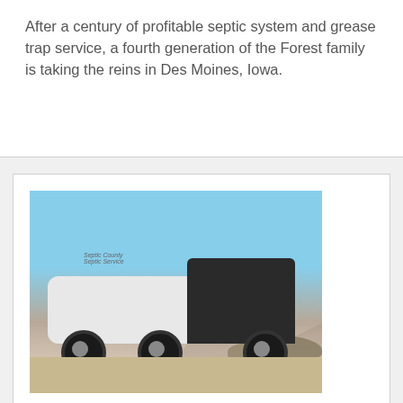After a century of profitable septic system and grease trap service, a fourth generation of the Forest family is taking the reins in Des Moines, Iowa.
[Figure (photo): A white septic/wastewater service truck with tank driving on a dirt road in a desert landscape with mountains in the background and blue sky.]
Following a Midcareer Course Correction, a California Businessman Found Success in the Wastewater Industry
Editorial